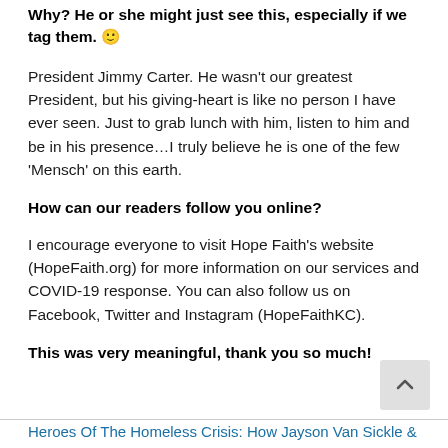Why? He or she might just see this, especially if we tag them. 🙂
President Jimmy Carter. He wasn't our greatest President, but his giving-heart is like no person I have ever seen. Just to grab lunch with him, listen to him and be in his presence…I truly believe he is one of the few 'Mensch' on this earth.
How can our readers follow you online?
I encourage everyone to visit Hope Faith's website (HopeFaith.org) for more information on our services and COVID-19 response. You can also follow us on Facebook, Twitter and Instagram (HopeFaithKC).
This was very meaningful, thank you so much!
Heroes Of The Homeless Crisis: How Jayson Van Sickle &